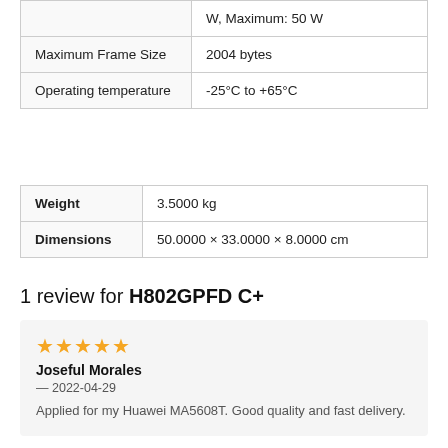|  |  |
| --- | --- |
| Maximum Frame Size | 2004 bytes |
| Operating temperature | -25°C to +65°C |
|  |  |
| --- | --- |
| Weight | 3.5000 kg |
| Dimensions | 50.0000 × 33.0000 × 8.0000 cm |
1 review for H802GPFD C+
Joseful Morales — 2022-04-29 Applied for my Huawei MA5608T. Good quality and fast delivery.